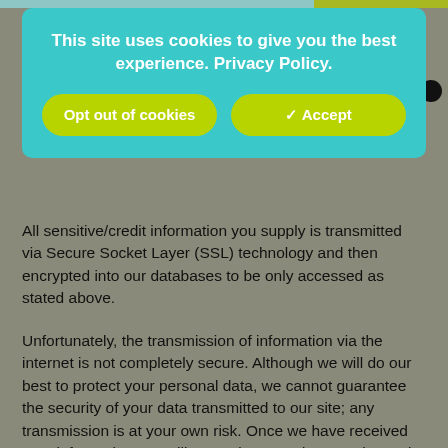[Figure (screenshot): Cookie consent banner overlay with teal/cyan background showing privacy notice text and two buttons: 'Opt out of cookies' and 'Accept' (with checkmark), both in yellow-green color.]
All sensitive/credit information you supply is transmitted via Secure Socket Layer (SSL) technology and then encrypted into our databases to be only accessed as stated above.
Unfortunately, the transmission of information via the internet is not completely secure. Although we will do our best to protect your personal data, we cannot guarantee the security of your data transmitted to our site; any transmission is at your own risk. Once we have received your information, we will use strict procedures and security features to try to prevent unauthorised